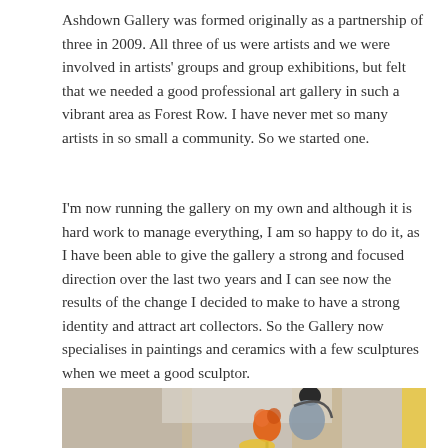Ashdown Gallery was formed originally as a partnership of three in 2009. All three of us were artists and we were involved in artists' groups and group exhibitions, but felt that we needed a good professional art gallery in such a vibrant area as Forest Row. I have never met so many artists in so small a community. So we started one.
I'm now running the gallery on my own and although it is hard work to manage everything, I am so happy to do it, as I have been able to give the gallery a strong and focused direction over the last two years and I can see now the results of the change I decided to make to have a strong identity and attract art collectors. So the Gallery now specialises in paintings and ceramics with a few sculptures when we meet a good sculptor.
[Figure (photo): Partial view of a painting showing abstract or semi-abstract scene with a figure, orange flower/object, and muted background in grays and beiges.]